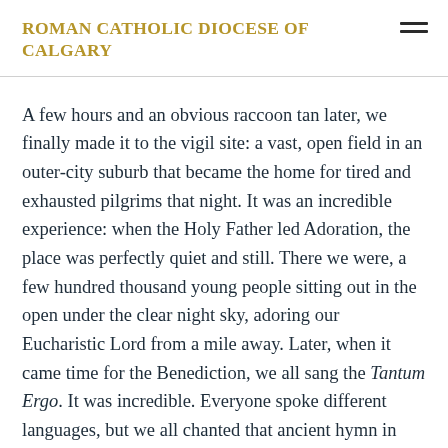ROMAN CATHOLIC DIOCESE OF CALGARY
A few hours and an obvious raccoon tan later, we finally made it to the vigil site: a vast, open field in an outer-city suburb that became the home for tired and exhausted pilgrims that night. It was an incredible experience: when the Holy Father led Adoration, the place was perfectly quiet and still. There we were, a few hundred thousand young people sitting out in the open under the clear night sky, adoring our Eucharistic Lord from a mile away. Later, when it came time for the Benediction, we all sang the Tantum Ergo. It was incredible. Everyone spoke different languages, but we all chanted that ancient hymn in unison — singing the Lord's praises in the language of Holy